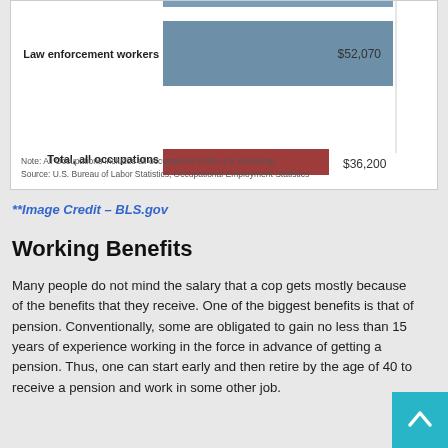[Figure (bar-chart): Median Annual Wages]
**Image Credit – BLS.gov
Working Benefits
Many people do not mind the salary that a cop gets mostly because of the benefits that they receive. One of the biggest benefits is that of pension. Conventionally, some are obligated to gain no less than 15 years of experience working in the force in advance of getting a pension. Thus, one can start early and then retire by the age of 40 to receive a pension and work in some other job.